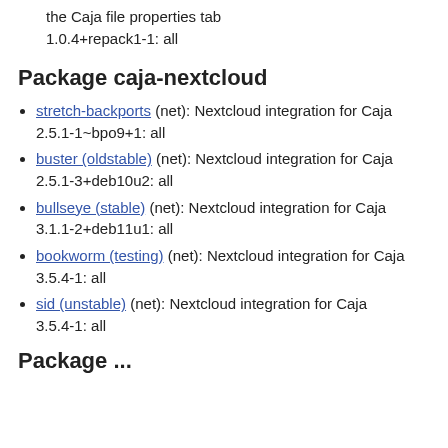the Caja file properties tab
1.0.4+repack1-1: all
Package caja-nextcloud
stretch-backports (net): Nextcloud integration for Caja
2.5.1-1~bpo9+1: all
buster (oldstable) (net): Nextcloud integration for Caja
2.5.1-3+deb10u2: all
bullseye (stable) (net): Nextcloud integration for Caja
3.1.1-2+deb11u1: all
bookworm (testing) (net): Nextcloud integration for Caja
3.5.4-1: all
sid (unstable) (net): Nextcloud integration for Caja
3.5.4-1: all
Package ...